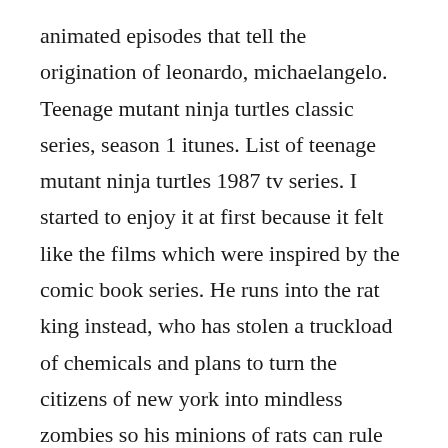animated episodes that tell the origination of leonardo, michaelangelo. Teenage mutant ninja turtles classic series, season 1 itunes. List of teenage mutant ninja turtles 1987 tv series. I started to enjoy it at first because it felt like the films which were inspired by the comic book series. He runs into the rat king instead, who has stolen a truckload of chemicals and plans to turn the citizens of new york into mindless zombies so his minions of rats can rule the city. Teenage mutant ninja turtles have toy story rex use play doh to become a ninja turtle superhero